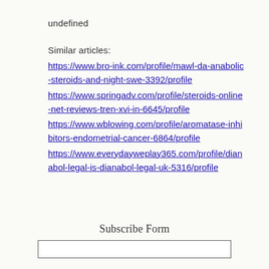undefined
Similar articles:
https://www.bro-ink.com/profile/mawl-da-anabolic-steroids-and-night-swe-3392/profile
https://www.springadv.com/profile/steroids-online-net-reviews-tren-xvi-in-6645/profile
https://www.wblowing.com/profile/aromatase-inhibitors-endometrial-cancer-6864/profile
https://www.everydayweplay365.com/profile/dianabol-legal-is-dianabol-legal-uk-5316/profile
Subscribe Form